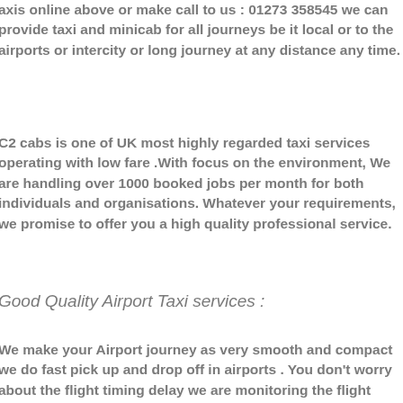axis online above or make call to us : 01273 358545 we can provide taxi and minicab for all journeys be it local or to the airports or intercity or long journey at any distance any time.
C2 cabs is one of UK most highly regarded taxi services operating with low fare .With focus on the environment, We are handling over 1000 booked jobs per month for both individuals and organisations. Whatever your requirements, we promise to offer you a high quality professional service.
Good Quality Airport Taxi services :
We make your Airport journey as very smooth and compact we do fast pick up and drop off in airports . You don't worry about the flight timing delay we are monitoring the flight delays to manage that time for airport pick-up & drop-off our driver will wait and pick you We providing airport taxi services for all over london airports heathrow airport taxi services , gatwick airport taxi services, london city airport taxi services ,stansted airport taxi services , luton airport taxi services etc.,all UK airports our taxi services available at all airports , cruise ports , stations any time . Reserve your taxis online before you fly ,our taxi drivers are ready to welcome you our taxi services .Get a special